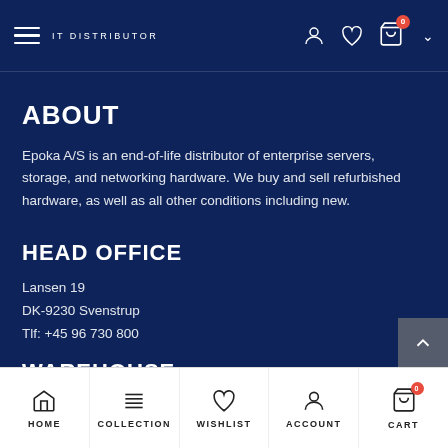IT DISTRIBUTOR — navigation bar with hamburger menu, user, wishlist, cart icons
ABOUT
Epoka A/S is an end-of-life distributor of enterprise servers, storage, and networking hardware. We buy and sell refurbished hardware, as well as all other conditions including new.
HEAD OFFICE
Lansen 19
DK-9230 Svenstrup
Tlf: +45 96 730 800
WAREHOUSE
HOME | COLLECTION | WISHLIST | ACCOUNT | CART